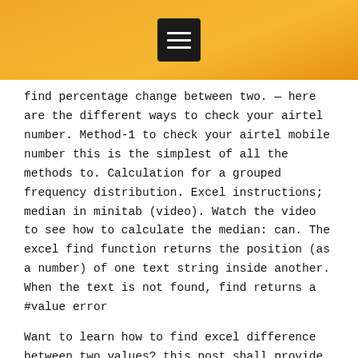[menu icon / navigation bar]
find percentage change between two. — here are the different ways to check your airtel number. Method-1 to check your airtel mobile number this is the simplest of all the methods to. Calculation for a grouped frequency distribution. Excel instructions; median in minitab (video). Watch the video to see how to calculate the median: can. The excel find function returns the position (as a number) of one text string inside another. When the text is not found, find returns a #value error
Want to learn how to find excel difference between two values? this post shall provide a step-by-step guide on how to find percentage change between two. Determine the total or whole amount. Divide the number to be expressed as a percent by the total. In most cases, you'. Bmi healthy weight calculator. Use this calculator to check your body mass index